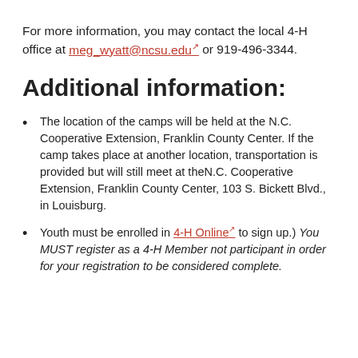For more information, you may contact the local 4-H office at meg_wyatt@ncsu.edu or 919-496-3344.
Additional information:
The location of the camps will be held at the N.C. Cooperative Extension, Franklin County Center. If the camp takes place at another location, transportation is provided but will still meet at theN.C. Cooperative Extension, Franklin County Center, 103 S. Bickett Blvd., in Louisburg.
Youth must be enrolled in 4-H Online to sign up.) You MUST register as a 4-H Member not participant in order for your registration to be considered complete.